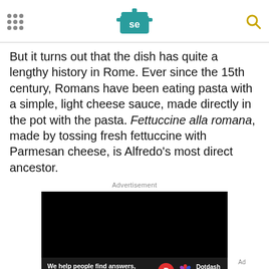Serious Eats header with logo and navigation
But it turns out that the dish has quite a lengthy history in Rome. Ever since the 15th century, Romans have been eating pasta with a simple, light cheese sauce, made directly in the pot with the pasta. Fettuccine alla romana, made by tossing fresh fettuccine with Parmesan cheese, is Alfredo's most direct ancestor.
Advertisement
[Figure (other): Black advertisement block with Dotdash Meredith branding at the bottom]